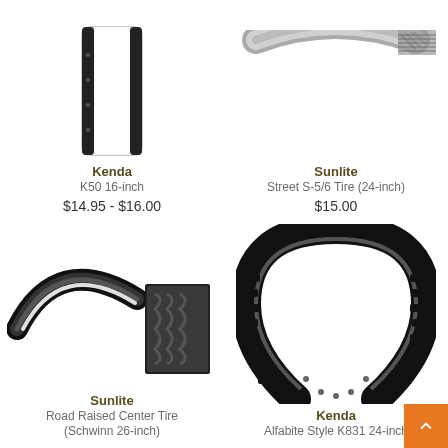[Figure (photo): Kenda K50 16-inch bicycle tire shown from the side, white/silver color]
Kenda
K50 16-inch
$14.95 - $16.00
[Figure (photo): Sunlite Street S-5/6 Tire 24-inch bicycle tire shown from the side, grey color]
Sunlite
Street S-5/6 Tire (24-inch)
$15.00
[Figure (photo): Sunlite Road Raised Center Tire Schwinn 26-inch bicycle tire, black, shown from the side with a close-up inset]
Sunlite
Road Raised Center Tire (Schwinn 26-inch)
[Figure (photo): Kenda Alfabite Style K831 24-inch mountain bicycle tire, black with knobby tread, shown at an angle]
Kenda
Alfabite Style K831 24-inch